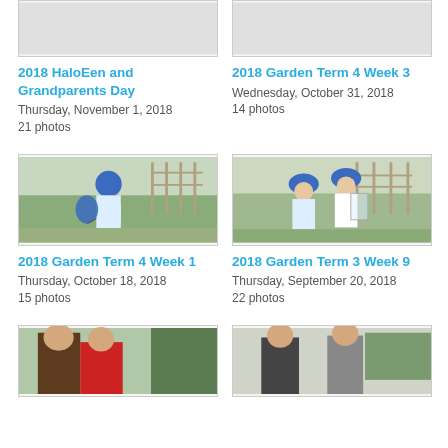[Figure (photo): Partial album thumbnail (top, cropped) for 2018 HaloEen and Grandparents Day]
[Figure (photo): Partial album thumbnail (top, cropped) for 2018 Garden Term 4 Week 3]
2018 HaloEen and Grandparents Day
Thursday, November 1, 2018
21 photos
2018 Garden Term 4 Week 3
Wednesday, October 31, 2018
14 photos
[Figure (photo): Children in school uniform blue hats doing garden activity with blue balloon/bag]
[Figure (photo): Children in school uniform blue hats doing garden activity with clear bag]
2018 Garden Term 4 Week 1
Thursday, October 18, 2018
15 photos
2018 Garden Term 3 Week 9
Thursday, September 20, 2018
22 photos
[Figure (photo): People outdoors, one in red hoodie, one in brown jacket]
[Figure (photo): People outdoors, two individuals standing together]